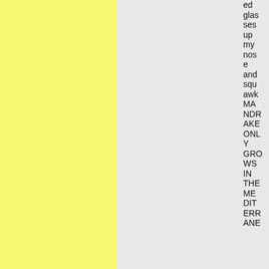ed glasses up my nose and squawk MANDRAKE ONLY GROWS IN THE MEDITERRANE ANE